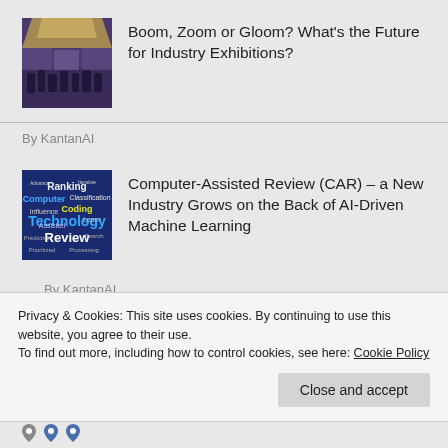[Figure (photo): Exhibition hall with crowd of people, blue and gold tones]
Boom, Zoom or Gloom? What's the Future for Industry Exhibitions?
By KantanAI
[Figure (illustration): Word cloud image with technology and AI-related terms including Ranking, Computer, Coding, Technology, Review, Classification, Assisted, etc.]
Computer-Assisted Review (CAR) – a New Industry Grows on the Back of AI-Driven Machine Learning
By KantanAI
Privacy & Cookies: This site uses cookies. By continuing to use this website, you agree to their use.
To find out more, including how to control cookies, see here: Cookie Policy
Close and accept